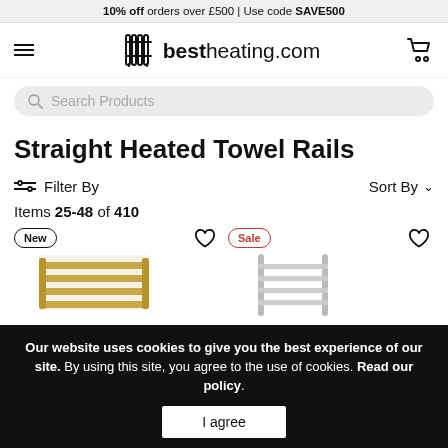10% off orders over £500 | Use code SAVE500
[Figure (logo): bestheating.com logo with radiator icon]
Straight Heated Towel Rails
Filter By   Sort By
Items 25-48 of 410
[Figure (photo): Two product thumbnails: gold/yellow towel rail with New badge, and chrome towel rail with Sale badge]
Our website uses cookies to give you the best experience of our site. By using this site, you agree to the use of cookies. Read our policy.